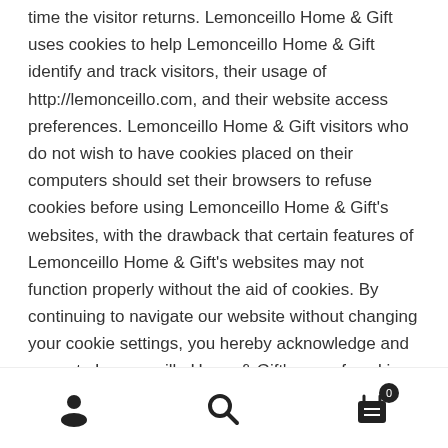time the visitor returns. Lemonceillo Home & Gift uses cookies to help Lemonceillo Home & Gift identify and track visitors, their usage of http://lemonceillo.com, and their website access preferences. Lemonceillo Home & Gift visitors who do not wish to have cookies placed on their computers should set their browsers to refuse cookies before using Lemonceillo Home & Gift's websites, with the drawback that certain features of Lemonceillo Home & Gift's websites may not function properly without the aid of cookies. By continuing to navigate our website without changing your cookie settings, you hereby acknowledge and agree to Lemonceillo Home & Gift's use of cookies.
E-commerce
Those who engage in transactions with Lemonceillo